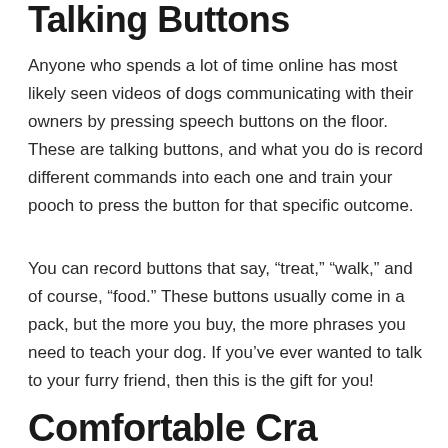Talking Buttons
Anyone who spends a lot of time online has most likely seen videos of dogs communicating with their owners by pressing speech buttons on the floor. These are talking buttons, and what you do is record different commands into each one and train your pooch to press the button for that specific outcome.
You can record buttons that say, “treat,” “walk,” and of course, “food.” These buttons usually come in a pack, but the more you buy, the more phrases you need to teach your dog. If you’ve ever wanted to talk to your furry friend, then this is the gift for you!
Comfort able Cra...